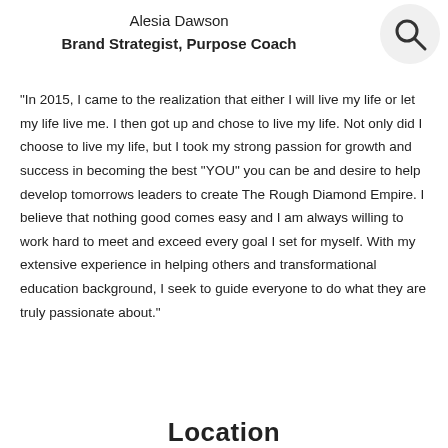Alesia Dawson
Brand Strategist, Purpose Coach
[Figure (illustration): Search magnifying glass icon in a light gray circle]
“In 2015, I came to the realization that either I will live my life or let my life live me. I then got up and chose to live my life. Not only did I choose to live my life, but I took my strong passion for growth and success in becoming the best “YOU” you can be and desire to help develop tomorrows leaders to create The Rough Diamond Empire. I believe that nothing good comes easy and I am always willing to work hard to meet and exceed every goal I set for myself. With my extensive experience in helping others and transformational education background, I seek to guide everyone to do what they are truly passionate about.”
Location